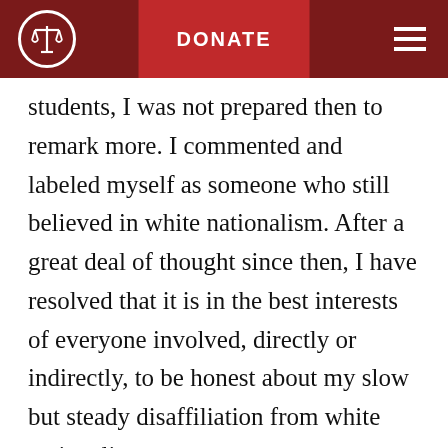DONATE
students, I was not prepared then to remark more. I commented and labeled myself as someone who still believed in white nationalism. After a great deal of thought since then, I have resolved that it is in the best interests of everyone involved, directly or indirectly, to be honest about my slow but steady disaffiliation from white nationalism.
Over the past few years, I have been disentangling myself from white nationalism. While the radio show I founded ended in January of 2013, over the course of the prior